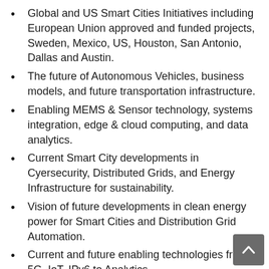Global and US Smart Cities Initiatives including European Union approved and funded projects, Sweden, Mexico, US, Houston, San Antonio, Dallas and Austin.
The future of Autonomous Vehicles, business models, and future transportation infrastructure.
Enabling MEMS & Sensor technology, systems integration, edge & cloud computing, and data analytics.
Current Smart City developments in Cyersecurity, Distributed Grids, and Energy Infrastructure for sustainability.
Vision of future developments in clean energy power for Smart Cities and Distribution Grid Automation.
Current and future enabling technologies from 5G, IoT, IPv6 to Analytics.
Smart city applications from metering, to lighting, to parking